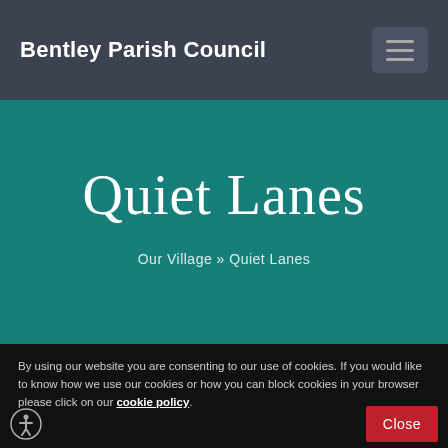Bentley Parish Council
Quiet Lanes
Our Village » Quiet Lanes
By using our website you are consenting to our use of cookies. If you would like to know how we use our cookies or how you can block cookies in your browser please click on our cookie policy.